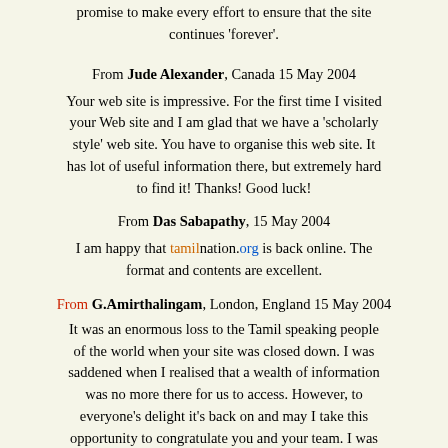promise to make every effort to ensure that the site continues 'forever'.
From Jude Alexander, Canada 15 May 2004
Your web site is impressive. For the first time I visited your Web site and I am glad that we have a 'scholarly style' web site. You have to organise this web site. It has lot of useful information there, but extremely hard to find it! Thanks! Good luck!
From Das Sabapathy, 15 May 2004
I am happy that tamilnation.org is back online. The format and contents are excellent.
From G.Amirthalingam, London, England 15 May 2004
It was an enormous loss to the Tamil speaking people of the world when your site was closed down. I was saddened when I realised that a wealth of information was no more there for us to access. However, to everyone's delight it's back on and may I take this opportunity to congratulate you and your team. I was glad to see my great great grandfather
M.V.Kanapathipillai's name amongst a list of 100